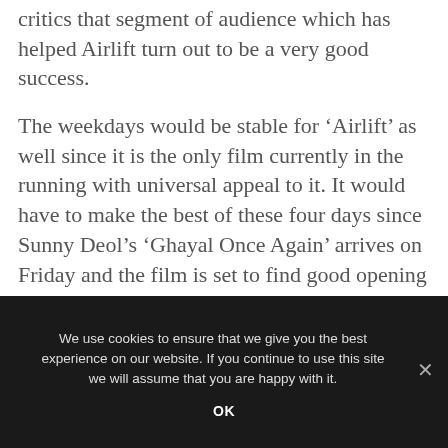critics that segment of audience which has helped Airlift turn out to be a very good success.
The weekdays would be stable for ‘Airlift’ as well since it is the only film currently in the running with universal appeal to it. It would have to make the best of these four days since Sunny Deol’s ‘Ghayal Once Again’ arrives on Friday and the film is set to find good opening at the box office.
We use cookies to ensure that we give you the best experience on our website. If you continue to use this site we will assume that you are happy with it.
OK